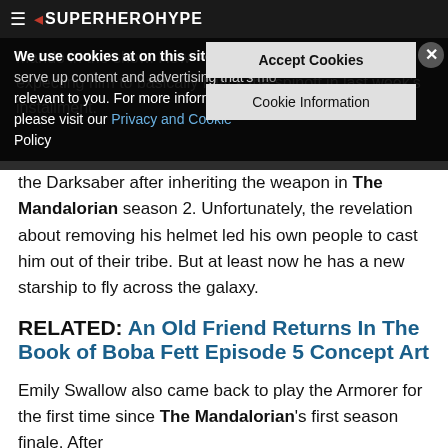SuperHeroHype
We use cookies at on this site so we can serve up content and advertising that's relevant to you. For more information, please visit our Privacy and Cookie Policy
Accept Cookies
Cookie Information
the Darksaber after inheriting the weapon in The Mandalorian season 2. Unfortunately, the revelation about removing his helmet led his own people to cast him out of their tribe. But at least now he has a new starship to fly across the galaxy.
RELATED: An Old Friend Returns In The Book of Boba Fett Episode 5 Concept Art
Emily Swallow also came back to play the Armorer for the first time since The Mandalorian's first season finale. After